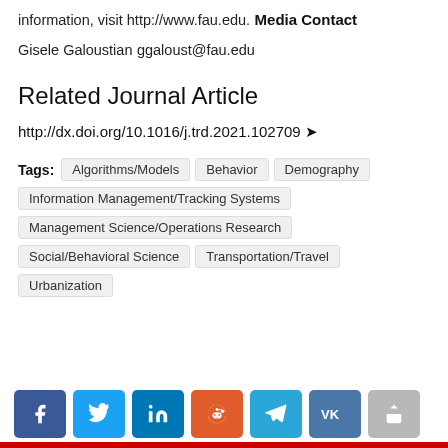information, visit http://www.fau.edu.
Media Contact
Gisele Galoustian
ggaloust@fau.edu
Related Journal Article
http://dx.doi.org/10.1016/j.trd.2021.102709
Tags: Algorithms/Models   Behavior   Demography   Information Management/Tracking Systems   Management Science/Operations Research   Social/Behavioral Science   Transportation/Travel   Urbanization